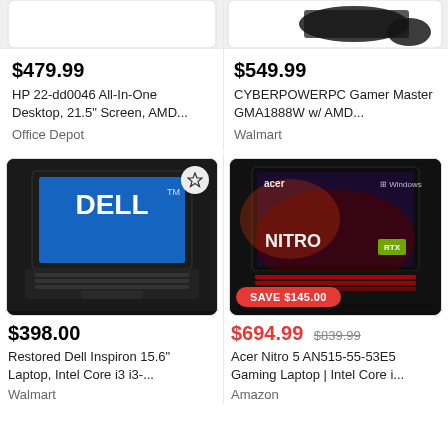[Figure (photo): HP All-In-One Desktop product image (partially visible, cropped at top)]
[Figure (photo): CYBERPOWERPC Gamer Master gaming desktop with keyboard and mouse (partially visible, cropped at top)]
$479.99
HP 22-dd0046 All-In-One Desktop, 21.5" Screen, AMD...
Office Depot
$549.99
CYBERPOWERPC Gamer Master GMA1888W w/ AMD...
Walmart
[Figure (photo): Dell laptop (Inspiron 15.6") with blue Dell logo screen, black body, with star/favorite icon overlay]
[Figure (photo): Acer Nitro 5 gaming laptop with red backlit keyboard and gaming graphics on screen, SAVE $145.00 badge]
$398.00
Restored Dell Inspiron 15.6" Laptop, Intel Core i3 i3-...
Walmart
$694.99  $839.99
Acer Nitro 5 AN515-55-53E5 Gaming Laptop | Intel Core i...
Amazon